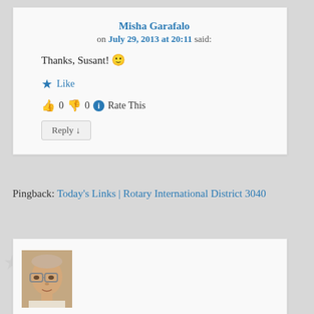Misha Garafalo
on July 29, 2013 at 20:11 said:
Thanks, Susant! 🙂
★ Like
👍 0 👎 0 ℹ Rate This
Reply ↓
Pingback: Today's Links | Rotary International District 3040
[Figure (photo): Avatar photo of an older man with glasses]